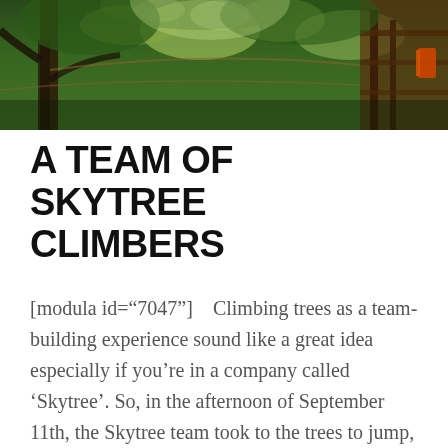[Figure (photo): Looking up through tree canopy with ropes and platforms of a tree climbing course visible, green leaves and wooden structures]
A TEAM OF SKYTREE CLIMBERS
[modula id="7047"]    Climbing trees as a team-building experience sound like a great idea especially if you're in a company called 'Skytree'. So, in the afternoon of September 11th, the Skytree team took to the trees to jump, climb, grapple, zipline, and crawl their way between trees in Amsterdam's forest. The team met